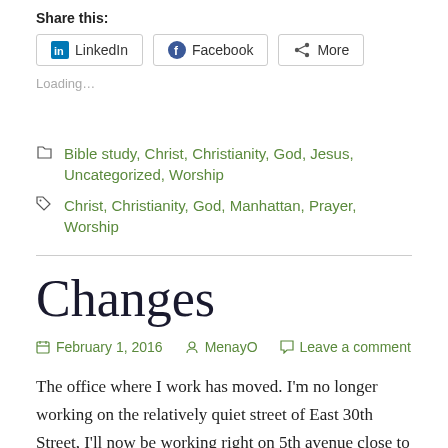Share this:
LinkedIn  Facebook  More
Loading…
Bible study, Christ, Christianity, God, Jesus, Uncategorized, Worship
Christ, Christianity, God, Manhattan, Prayer, Worship
Changes
February 1, 2016  MenayO  Leave a comment
The office where I work has moved. I'm no longer working on the relatively quiet street of East 30th Street, I'll now be working right on 5th avenue close to the Empire State Building. I helped